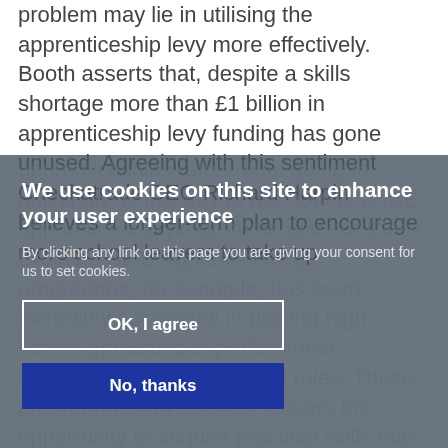problem may lie in utilising the apprenticeship levy more effectively. Booth asserts that, despite a skills shortage more than £1 billion in apprenticeship levy funding has gone unused. Agreeing with this sentiment Checkatrade CEO Richard Harpin believes a longer-term plan to encourage more school leavers to take up apprenticeships rather than going to university, is the way to do. Our ASPIRE apprenticeship programme and our Close Brothers SME Apprenticeship programme, for example, has been incredibly successful in placing high school graduates in professional, challenging, and fast-paced roles. These programmes give school leavers the opportunity to acquire practical skills that will aid in their transition from education to the workplace.
We use cookies on this site to enhance your user experience
By clicking any link on this page you are giving your consent for us to set cookies.
OK, I agree
No, thanks
...use of incentives to entice workers ...ved effective. According to Adzuna, a job search engine, offering lucrative sign-up